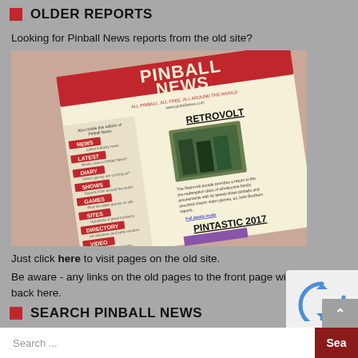OLDER REPORTS
Looking for Pinball News reports from the old site?
[Figure (photo): A tilted Pinball News magazine front page featuring headlines RETROVOLT and PINTASTIC 2017, with navigation sections NEWS, LATEST, DIARY, SHOWS, GAMES, SITES, DIRECTORY, VIDEO on the left, and article text and images on the right.]
Just click here to visit pages on the old site.
Be aware - any links on the old pages to the front page will bring you back here.
SEARCH PINBALL NEWS